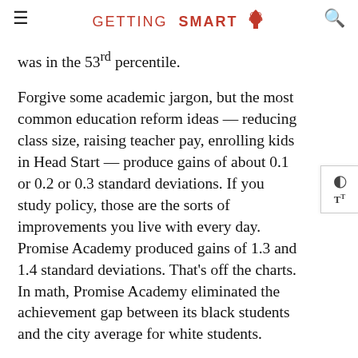GETTING SMART
was in the 53rd percentile.
Forgive some academic jargon, but the most common education reform ideas — reducing class size, raising teacher pay, enrolling kids in Head Start — produce gains of about 0.1 or 0.2 or 0.3 standard deviations. If you study policy, those are the sorts of improvements you live with every day. Promise Academy produced gains of 1.3 and 1.4 standard deviations. That's off the charts. In math, Promise Academy eliminated the achievement gap between its black students and the city average for white students.
Let me repeat that. It eliminated the black